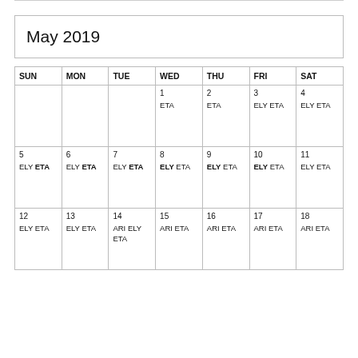May 2019
| SUN | MON | TUE | WED | THU | FRI | SAT |
| --- | --- | --- | --- | --- | --- | --- |
|  |  |  | 1 ETA | 2 ETA | 3 ELY ETA | 4 ELY ETA |
| 5 ELY ETA | 6 ELY ETA | 7 ELY ETA | 8 ELY ETA | 9 ELY ETA | 10 ELY ETA | 11 ELY ETA |
| 12 ELY ETA | 13 ELY ETA | 14 ARI ELY ETA | 15 ARI ETA | 16 ARI ETA | 17 ARI ETA | 18 ARI ETA |